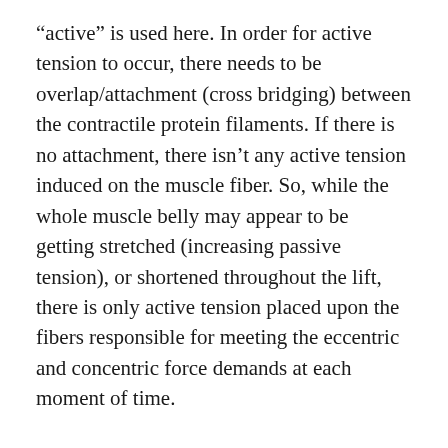“active” is used here. In order for active tension to occur, there needs to be overlap/attachment (cross bridging) between the contractile protein filaments. If there is no attachment, there isn’t any active tension induced on the muscle fiber. So, while the whole muscle belly may appear to be getting stretched (increasing passive tension), or shortened throughout the lift, there is only active tension placed upon the fibers responsible for meeting the eccentric and concentric force demands at each moment of time.
When the magnitude and duration of tension is sufficient, a mechanically induced cellular signaling cascade occurs that drives an increase in muscle protein synthesis[ii]. There is no need to dive into the mechanism(s) through which this occurs, but it’s pretty cool in the sense that mechanical events result in a...